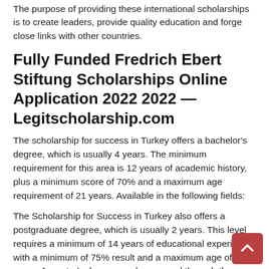The purpose of providing these international scholarships is to create leaders, provide quality education and forge close links with other countries.
Fully Funded Fredrich Ebert Stiftung Scholarships Online Application 2022 2022 — Legitscholarship.com
The scholarship for success in Turkey offers a bachelor's degree, which is usually 4 years. The minimum requirement for this area is 12 years of academic history, plus a minimum score of 70% and a maximum age requirement of 21 years. Available in the following fields:
The Scholarship for Success in Turkey also offers a postgraduate degree, which is usually 2 years. This level requires a minimum of 14 years of educational experience, with a minimum of 75% result and a maximum age of 30 years. A master's degree can be pursued through the Success Scholarship Program in Turkey in the following areas: